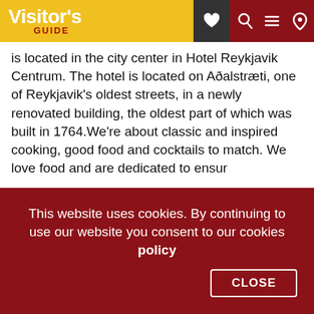Visitor's GUIDE
is located in the city center in Hotel Reykjavik Centrum. The hotel is located on Aðalstræti, one of Reykjavik's oldest streets, in a newly renovated building, the oldest part of which was built in 1764.We're about classic and inspired cooking, good food and cocktails to match. We love food and are dedicated to ensur
Casual dining
Bistro Bar
[Figure (photo): Interior scene of a restaurant or bar with hanging pendant lights of various shapes and colors against a dark background with silhouetted figures]
This website uses cookies. By continuing to use our website you consent to our cookies policy CLOSE